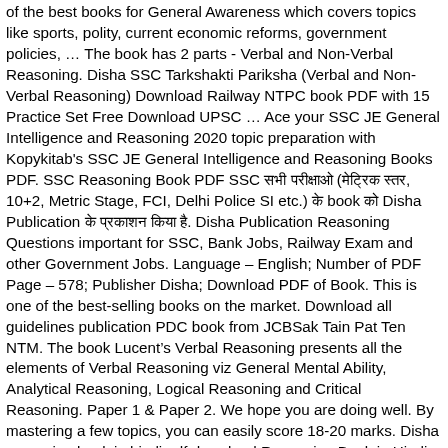of the best books for General Awareness which covers topics like sports, polity, current economic reforms, government policies, … The book has 2 parts - Verbal and Non-Verbal Reasoning. Disha SSC Tarkshakti Pariksha (Verbal and Non-Verbal Reasoning) Download Railway NTPC book PDF with 15 Practice Set Free Download UPSC … Ace your SSC JE General Intelligence and Reasoning 2020 topic preparation with Kopykitab's SSC JE General Intelligence and Reasoning Books PDF. SSC Reasoning Book PDF SSC सभी परीक्षाओ (मेट्रिक स्तर, 10+2, Metric Stage, FCI, Delhi Police SI etc.) के book को Disha Publication के प्रकाशन किया है. Disha Publication Reasoning Questions important for SSC, Bank Jobs, Railway Exam and other Government Jobs. Language – English; Number of PDF Page – 578; Publisher Disha; Download PDF of Book. This is one of the best-selling books on the market. Download all guidelines publication PDC book from JCBSak Tain Pat Ten NTM. The book Lucent's Verbal Reasoning presents all the elements of Verbal Reasoning viz General Mental Ability, Analytical Reasoning, Logical Reasoning and Critical Reasoning. Paper 1 & Paper 2. We hope you are doing well. By mastering a few topics, you can easily score 18-20 marks. Disha reasoning book in hindi pdf download Reasoning Book in Hindi PDF Download for Railway SSC Exams , Junior Engineer JE Exam , Reasoning General intelligence Books PDF / November 5, 2020 November 5, 2020 This book has been written in simple, lucid, clear and modern style so that the student may find the … Disha Experts. So if fear reasoning or you are weak in reasoning then you must read thisDisha?Reasoning Bookonce as it is Reasoning For Beginnersand isvery well equipped for various govt. We know that Disha Prakashan is famous for producing and publishing books related to competitive examinations. Do comment to download Dish...